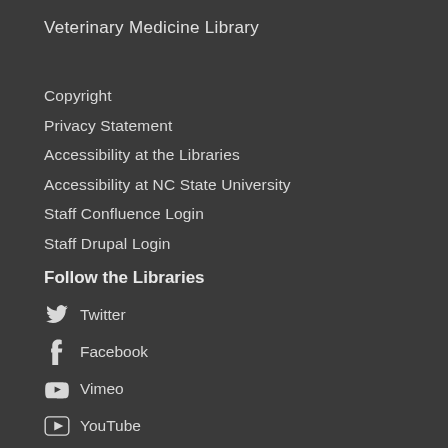Veterinary Medicine Library
Copyright
Privacy Statement
Accessibility at the Libraries
Accessibility at NC State University
Staff Confluence Login
Staff Drupal Login
Follow the Libraries
Twitter
Facebook
Vimeo
YouTube
Instagram
Flickr